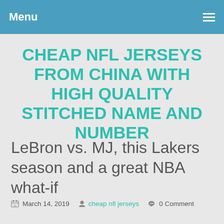Menu
CHEAP NFL JERSEYS FROM CHINA WITH HIGH QUALITY STITCHED NAME AND NUMBER
LeBron vs. MJ, this Lakers season and a great NBA what-if
March 14, 2019   cheap nfl jerseys   0 Comment